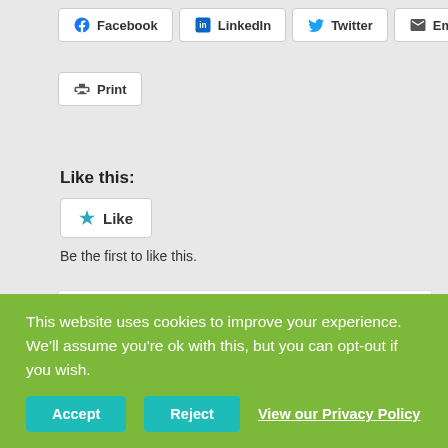[Figure (infographic): Social share buttons row: Facebook, LinkedIn, Twitter, Email]
[Figure (infographic): Print button]
Like this:
[Figure (infographic): Like button with star icon]
Be the first to like this.
By judythemorgan | March 7th, 2014 | Friday on the Miller Farm, Miller Farm Friday | 0 Comments
Share This Story, Choose Your Platform!
This website uses cookies to improve your experience. We'll assume you're ok with this, but you can opt-out if you wish.
Accept | Reject | View our Privacy Policy